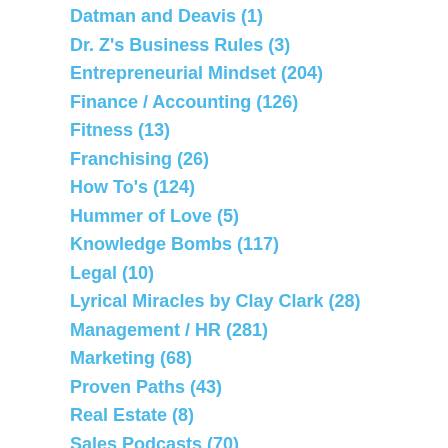Datman and Deavis (1)
Dr. Z's Business Rules (3)
Entrepreneurial Mindset (204)
Finance / Accounting (126)
Fitness (13)
Franchising (26)
How To's (124)
Hummer of Love (5)
Knowledge Bombs (117)
Legal (10)
Lyrical Miracles by Clay Clark (28)
Management / HR (281)
Marketing (68)
Proven Paths (43)
Real Estate (8)
Sales Podcasts (70)
Search Engine Optimization (27)
Slider Images (1)
Time Management (114)